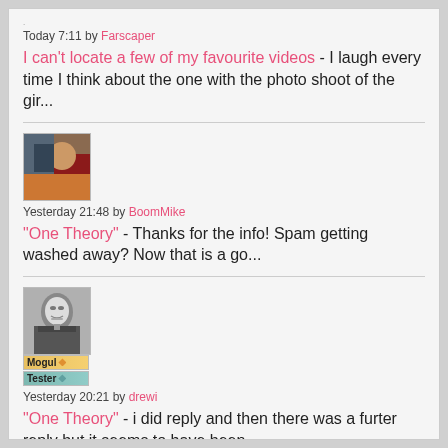Today 7:11 by Farscaper
I can't locate a few of my favourite videos - I laugh every time I think about the one with the photo shoot of the gir...
[Figure (photo): User avatar image for BoomMike - colorful photo]
Yesterday 21:48 by BoomMike
"One Theory" - Thanks for the info! Spam getting washed away? Now that is a go...
[Figure (photo): User avatar image for drewi - black and white photo of a man, with Mogul and Tester badges below]
Yesterday 20:21 by drewi
"One Theory" - i did reply and then there was a furter reply but it seems to have been ...